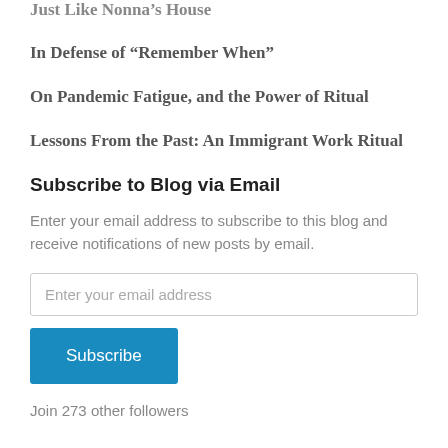Just Like Nonna's House
In Defense of “Remember When”
On Pandemic Fatigue, and the Power of Ritual
Lessons From the Past: An Immigrant Work Ritual
Subscribe to Blog via Email
Enter your email address to subscribe to this blog and receive notifications of new posts by email.
Enter your email address
Subscribe
Join 273 other followers